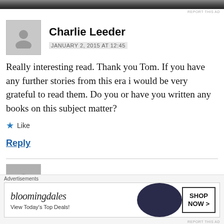[Figure (photo): Top cropped image strip showing partial photo]
REPORT THIS AD
Charlie Leeder
JANUARY 2, 2015 AT 12:45
Really interesting read. Thank you Tom. If you have any further stories from this era i would be very grateful to read them. Do you or have you written any books on this subject matter?
Like
Reply
Mick T.
Advertisements
[Figure (screenshot): Bloomingdale's advertisement banner: bloomingdales, View Today's Top Deals!, SHOP NOW >]